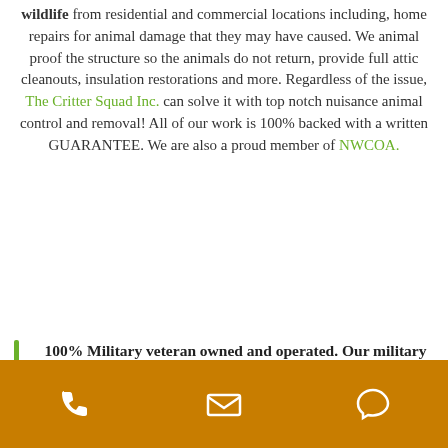wildlife from residential and commercial locations including, home repairs for animal damage that they may have caused. We animal proof the structure so the animals do not return, provide full attic cleanouts, insulation restorations and more. Regardless of the issue, The Critter Squad Inc. can solve it with top notch nuisance animal control and removal! All of our work is 100% backed with a written GUARANTEE. We are also a proud member of NWCOA.
100% Military veteran owned and operated. Our military work ethic is the example for others to follow. We do it right the first time. We pride ourselves on dedication, integrity, and customer satisfaction.
[Figure (infographic): Orange footer bar with three white icons: phone, email/envelope, and chat/speech bubble]